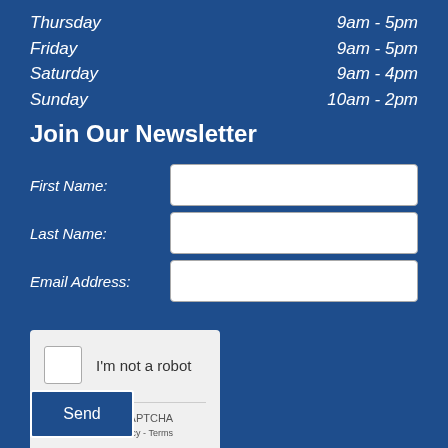Thursday   9am - 5pm
Friday   9am - 5pm
Saturday   9am - 4pm
Sunday   10am - 2pm
Join Our Newsletter
First Name:
Last Name:
Email Address:
[Figure (other): reCAPTCHA widget with checkbox labeled 'I'm not a robot', reCAPTCHA logo, Privacy and Terms links]
Send